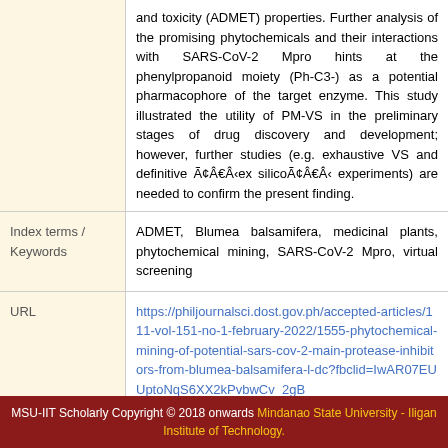and toxicity (ADMET) properties. Further analysis of the promising phytochemicals and their interactions with SARS-CoV-2 Mpro hints at the phenylpropanoid moiety (Ph-C3-) as a potential pharmacophore of the target enzyme. This study illustrated the utility of PM-VS in the preliminary stages of drug discovery and development; however, further studies (e.g. exhaustive VS and definitive Ã¢ÂÂex silicoÃ¢ÂÂ experiments) are needed to confirm the present finding.
|  |  |
| --- | --- |
| Index terms / Keywords | ADMET, Blumea balsamifera, medicinal plants, phytochemical mining, SARS-CoV-2 Mpro, virtual screening |
| URL | https://philjournalsci.dost.gov.ph/accepted-articles/111-vol-151-no-1-february-2022/1555-phytochemical-mining-of-potential-sars-cov-2-main-protease-inhibitors-from-blumea-balsamifera-l-dc?fbclid=IwAR07EUUptoNqS6XX2kPvbwCv_2gB_ |
MSU-IIT Scholarly Copyright © 2018 onwards Mindanao State University - Iligan Institute of Technology.